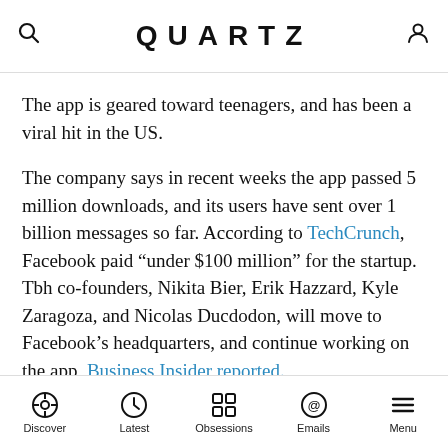QUARTZ
The app is geared toward teenagers, and has been a viral hit in the US.
The company says in recent weeks the app passed 5 million downloads, and its users have sent over 1 billion messages so far. According to TechCrunch, Facebook paid “under $100 million” for the startup. Tbh co-founders, Nikita Bier, Erik Hazzard, Kyle Zaragoza, and Nicolas Ducdodon, will move to Facebook’s headquarters, and continue working on the app, Business Insider reported.
ADVERTISEMENT
[Figure (photo): Advertisement banner showing a person's head with white rectangular shapes overlaid]
Discover | Latest | Obsessions | Emails | Menu